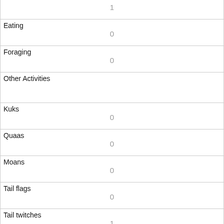| Field | Value |
| --- | --- |
|  | 1 |
| Eating | 0 |
| Foraging | 0 |
| Other Activities |  |
| Kuks | 0 |
| Quaas | 0 |
| Moans | 0 |
| Tail flags | 0 |
| Tail twitches | 1 |
| Approaches | 0 |
| Indifferent | 0 |